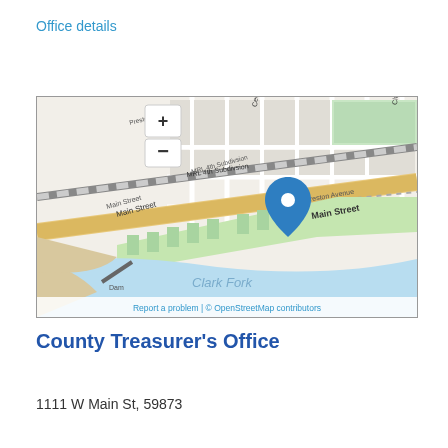Office details
[Figure (map): OpenStreetMap showing location near 1111 W Main St, Missoula. Shows streets including Preston Avenue, Main Street, East Preston Avenue, Cedar Street, Clay Street, MRL 4th Subdivision rail line, Clark Fork river, and a blue map pin marker. Zoom controls (+/-) visible in upper left. Footer shows 'Report a problem | © OpenStreetMap contributors'.]
County Treasurer's Office
1111 W Main St, 59873